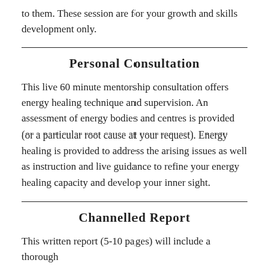to them. These session are for your growth and skills development only.
Personal Consultation
This live 60 minute mentorship consultation offers energy healing technique and supervision. An assessment of energy bodies and centres is provided (or a particular root cause at your request). Energy healing is provided to address the arising issues as well as instruction and live guidance to refine your energy healing capacity and develop your inner sight.
Channelled Report
This written report (5-10 pages) will include a thorough